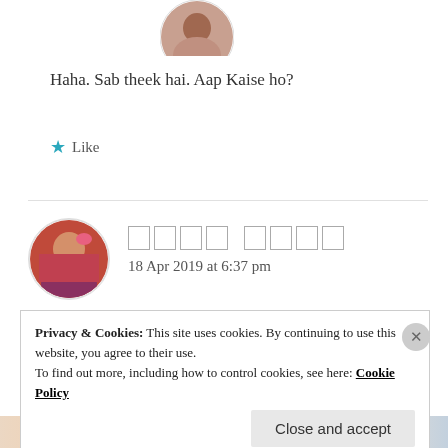[Figure (photo): Circular avatar photo of a person at the top of the comment section]
Haha. Sab theek hai. Aap Kaise ho?
★ Like
[Figure (photo): Circular avatar photo of a woman in traditional Indian bridal attire]
□□□□ □□□□
18 Apr 2019 at 6:37 pm
Ek dum bhadiya. beta mei in sab bato k liye
Privacy & Cookies: This site uses cookies. By continuing to use this website, you agree to their use.
To find out more, including how to control cookies, see here: Cookie Policy
Close and accept